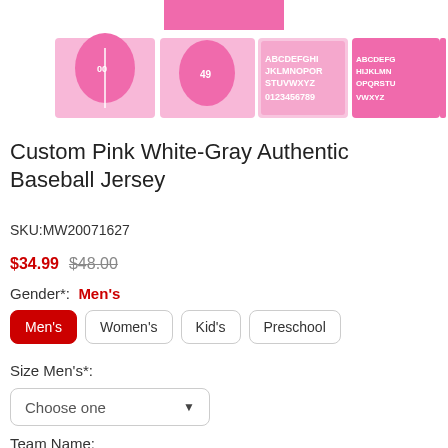[Figure (photo): Product images of a custom pink white-gray authentic baseball jersey, including front and back views, and font/number style options shown in pink.]
Custom Pink White-Gray Authentic Baseball Jersey
SKU:MW20071627
$34.99  $48.00
Gender*:  Men's
Men's
Women's
Kid's
Preschool
Size Men's*:
Choose one
Team Name: